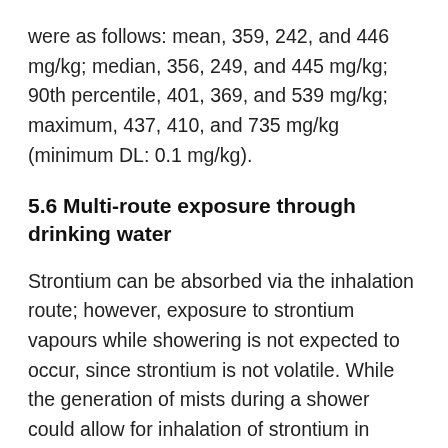were as follows: mean, 359, 242, and 446 mg/kg; median, 356, 249, and 445 mg/kg; 90th percentile, 401, 369, and 539 mg/kg; maximum, 437, 410, and 735 mg/kg (minimum DL: 0.1 mg/kg).
5.6 Multi-route exposure through drinking water
Strontium can be absorbed via the inhalation route; however, exposure to strontium vapours while showering is not expected to occur, since strontium is not volatile. While the generation of mists during a shower could allow for inhalation of strontium in